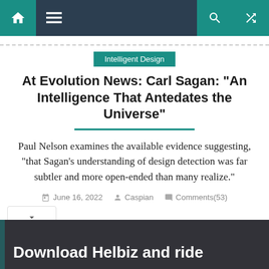Navigation bar with home, menu, search, and shuffle icons
Intelligent Design
At Evolution News: Carl Sagan: “An Intelligence That Antedates the Universe”
Paul Nelson examines the available evidence suggesting, “that Sagan’s understanding of design detection was far subtler and more open-ended than many realize.”
June 16, 2022   Caspian   Comments(53)
[Figure (photo): Ad banner showing a person with a scooter and text 'Download Helbiz and ride']